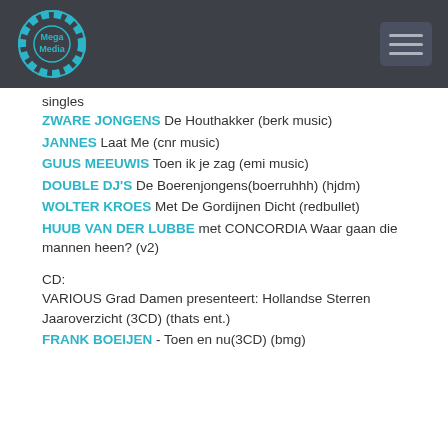Mega Media
singles
ZWARE JONGENS De Houthakker (berk music)
JANNES Laat Me (cnr music)
GUUS MEEUWIS Toen ik je zag (emi music)
DOUBLE DJ'S De Boerenjongens(boerruhhh) (hjdm)
WOLTER KROES Met De Gordijnen Dicht (redbullet)
HUUB VAN DER LUBBE met CONCORDIA Waar gaan die mannen heen? (v2)
CD:
VARIOUS Grad Damen presenteert: Hollandse Sterren Jaaroverzicht (3CD) (thats ent.)
FRANK BOEIJEN - Toen en nu(3CD) (bmg)